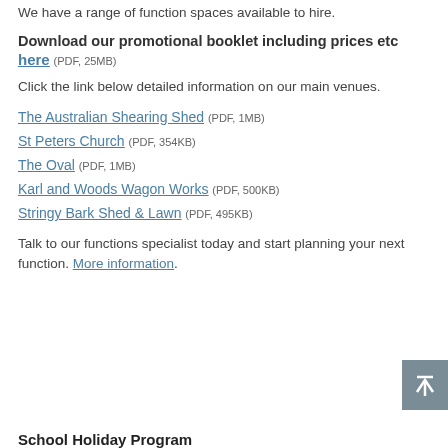We have a range of function spaces available to hire.
Download our promotional booklet including prices etc here (PDF, 25MB)
Click the link below detailed information on our main venues.
The Australian Shearing Shed (PDF, 1MB)
St Peters Church (PDF, 354KB)
The Oval (PDF, 1MB)
Karl and Woods Wagon Works (PDF, 500KB)
Stringy Bark Shed & Lawn (PDF, 495KB)
Talk to our functions specialist today and start planning your next function. More information.
School Holiday Program